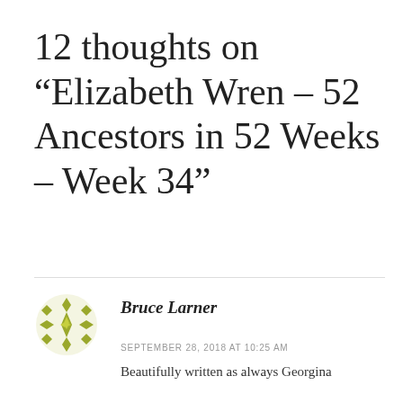12 thoughts on “Elizabeth Wren – 52 Ancestors in 52 Weeks – Week 34”
Bruce Larner
SEPTEMBER 28, 2018 AT 10:25 AM
Beautifully written as always Georgina